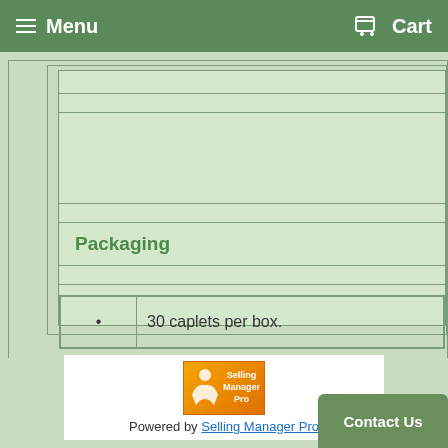Menu   Cart
Packaging
30 caplets per box.
[Figure (logo): Selling Manager Pro logo advertisement with orange background]
Powered by Selling Manager Pro   Contact Us